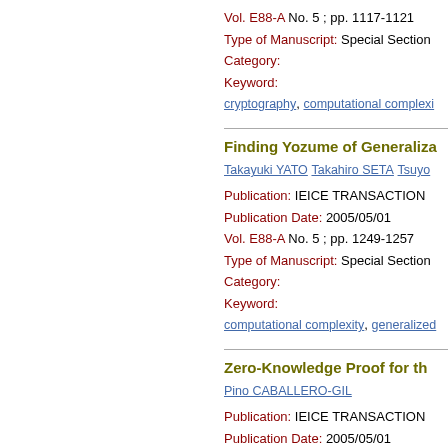Vol. E88-A  No. 5 ; pp. 1117-1121
Type of Manuscript:  Special Section
Category:
Keyword:
cryptography, computational complexi
Finding Yozume of Generaliza
Takayuki YATO  Takahiro SETA  Tsuyo
Publication:   IEICE TRANSACTION
Publication Date: 2005/05/01
Vol. E88-A  No. 5 ; pp. 1249-1257
Type of Manuscript:  Special Section
Category:
Keyword:
computational complexity, generalized
Zero-Knowledge Proof for th
Pino CABALLERO-GIL
Publication:   IEICE TRANSACTION
Publication Date: 2005/05/01
Vol. E88-A  No. 5 ; pp. 1301-1302